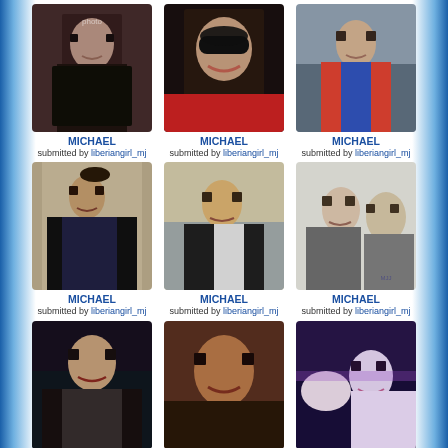[Figure (photo): Michael Jackson performing on stage, wearing dark outfit with stars]
MICHAEL
submitted by liberiangirl_mj
[Figure (photo): Michael Jackson wearing sunglasses and red shirt, smiling close-up]
MICHAEL
submitted by liberiangirl_mj
[Figure (photo): Michael Jackson in colorful jacket outdoors]
MICHAEL
submitted by liberiangirl_mj
[Figure (photo): Michael Jackson walking in street with hat and black outfit]
MICHAEL
submitted by liberiangirl_mj
[Figure (photo): Michael Jackson near cars wearing black and white outfit]
MICHAEL
submitted by liberiangirl_mj
[Figure (photo): Michael Jackson at an award ceremony with a woman, black and white photo]
MICHAEL
submitted by liberiangirl_mj
[Figure (photo): Michael Jackson with long dark hair and leather jacket, glamour shot]
MICHAEL
submitted by liberiangirl_mj
[Figure (photo): Michael Jackson with brown curly hair, close-up dramatic lighting]
MICHAEL
submitted by liberiangirl_mj
[Figure (photo): Michael Jackson on stage with dramatic purple lighting and white costume]
MICHAEL
submitted by liberiangirl_mj